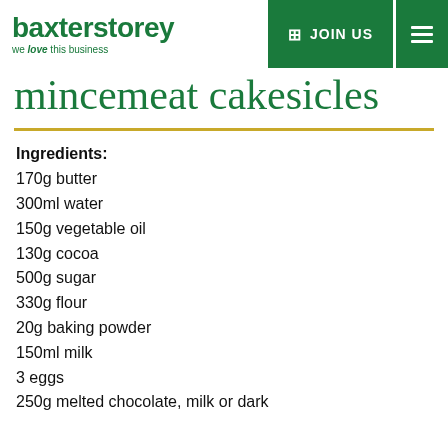baxterstorey — we love this business | JOIN US
mincemeat cakesicles
Ingredients:
170g butter
300ml water
150g vegetable oil
130g cocoa
500g sugar
330g flour
20g baking powder
150ml milk
3 eggs
250g melted chocolate, milk or dark